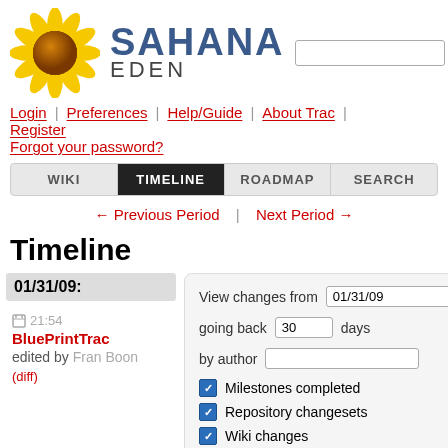[Figure (logo): Sahana Eden logo with sunflower graphic, 'SAHANA' in blue bold text and 'EDEN' below in gray, with a search input and Search button]
Login | Preferences | Help/Guide | About Trac | Register | Forgot your password?
WIKI | TIMELINE | ROADMAP | SEARCH
← Previous Period | Next Period →
Timeline
01/31/09:
View changes from 01/31/09 going back 30 days by author
☑ Milestones completed
☑ Repository changesets
☑ Wiki changes
21:54 BluePrintTrac edited by Fran Boon (diff)